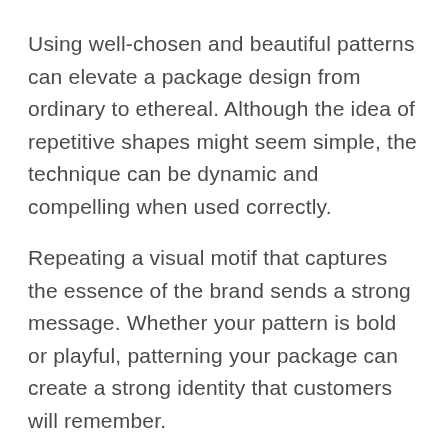Using well-chosen and beautiful patterns can elevate a package design from ordinary to ethereal. Although the idea of repetitive shapes might seem simple, the technique can be dynamic and compelling when used correctly.
Repeating a visual motif that captures the essence of the brand sends a strong message. Whether your pattern is bold or playful, patterning your package can create a strong identity that customers will remember.